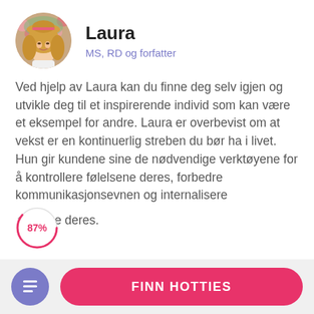[Figure (photo): Circular avatar photo of Laura, a woman with long blonde hair wearing a straw hat with flowers in the background]
Laura
MS, RD og forfatter
Ved hjelp av Laura kan du finne deg selv igjen og utvikle deg til et inspirerende individ som kan være et eksempel for andre. Laura er overbevist om at vekst er en kontinuerlig streben du bør ha i livet. Hun gir kundene sine de nødvendige verktøyene for å kontrollere følelsene deres, forbedre kommunikasjonsevnen og internalisere verdiene deres.
[Figure (infographic): 87% match circle indicator with pink border]
FINN HOTTIES